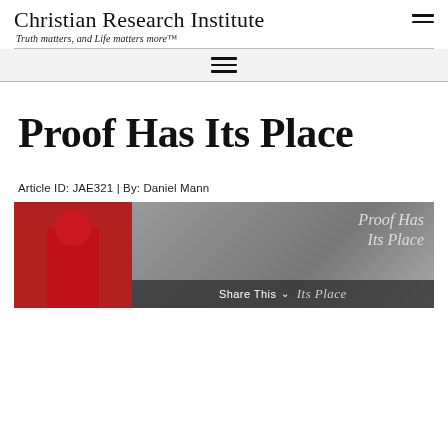Christian Research Institute
Truth matters, and Life matters more™
Proof Has Its Place
Article ID: JAE321 | By: Daniel Mann
[Figure (photo): Article header image showing a red shape on left and gray textured background on right with overlay text 'Proof Has Its Place' and a 'Share This' bar at the bottom]